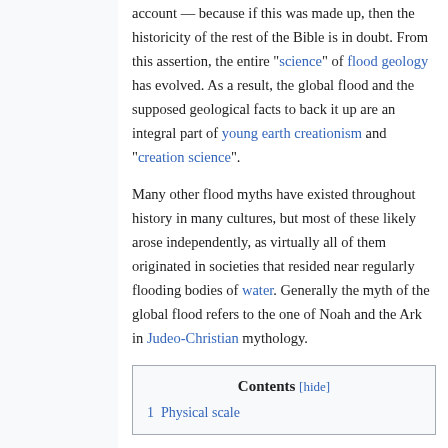account — because if this was made up, then the historicity of the rest of the Bible is in doubt. From this assertion, the entire "science" of flood geology has evolved. As a result, the global flood and the supposed geological facts to back it up are an integral part of young earth creationism and "creation science".
Many other flood myths have existed throughout history in many cultures, but most of these likely arose independently, as virtually all of them originated in societies that resided near regularly flooding bodies of water. Generally the myth of the global flood refers to the one of Noah and the Ark in Judeo-Christian mythology.
| Contents |
| --- |
| 1 Physical scale |